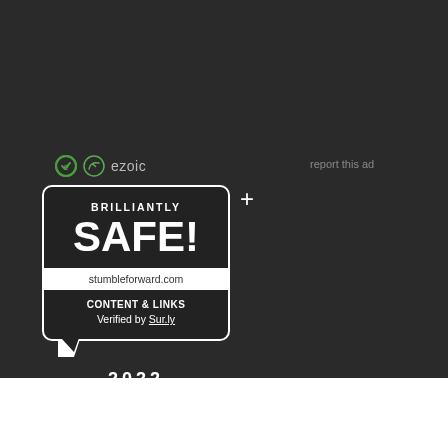[Figure (logo): Ezoic logo with circular icon and text 'ezoic' in gray]
report this ad
[Figure (infographic): Brilliantly SAFE! badge in speech bubble shape. Text reads: BRILLIANTLY SAFE! stumbleforward.com CONTENT & LINKS Verified by Sur.ly. Year: 2022]